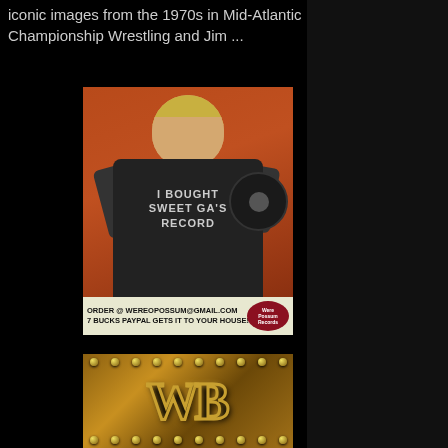iconic images from the 1970s in Mid-Atlantic Championship Wrestling and Jim ...
[Figure (photo): Person wearing a black t-shirt that reads 'I BOUGHT SWEET GA'S RECORD' holding a vinyl record, orange-red background. Below is an ad banner reading 'ORDER @ WEREOPOSSUM@GMAIL.COM 7 BUCKS PAYPAL GETS IT TO YOUR HOUSE!' with a round logo on the right.]
[Figure (photo): Close-up macro photograph of gold metallic championship belt letters spelling 'WB' or similar, with gold studs along the top and bottom edges, dark background.]